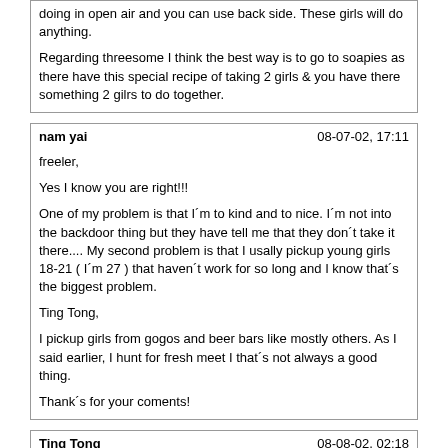doing in open air and you can use back side. These girls will do anything.

Regarding threesome I think the best way is to go to soapies as there have this special recipe of taking 2 girls & you have there something 2 gilrs to do together.
nam yai	08-07-02, 17:11

freeler,

Yes I know you are right!!!

One of my problem is that I´m to kind and to nice. I´m not into the backdoor thing but they have tell me that they don´t take it there.... My second problem is that I usally pickup young girls 18-21 ( I´m 27 ) that haven´t work for so long and I know that´s the biggest problem.

Ting Tong,

I pickup girls from gogos and beer bars like mostly others. As I said earlier, I hunt for fresh meet I that´s not always a good thing.

Thank´s for your coments!
Ting Tong	08-08-02, 02:18

Originally posted by nam yai
Ting Tong,

I pickup girls from gogos and beer bars like mostly others. As I said earlier, I hunt for fresh meet I that´s not always a good thing.

Thank´s for your coments!

My comment was for the people who says all girls in Pattaya are threeholed, Threesome etc. If you like that then pick up from beach road.